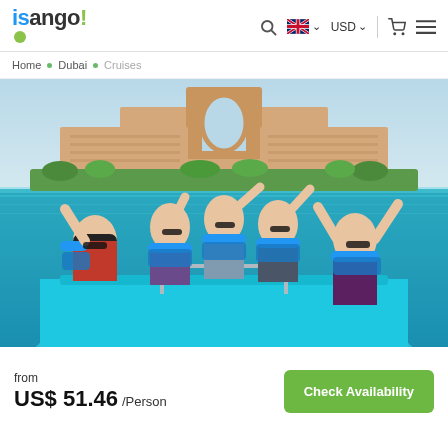isango! [search] [UK flag] USD [cart] [menu]
Home • Dubai • Cruises
[Figure (photo): Group of five young people sitting on the bow of a blue speedboat on turquoise water, arms raised cheerfully, with the Atlantis, The Palm hotel in the background in Dubai.]
from US$ 51.46 /Person
Check Availability